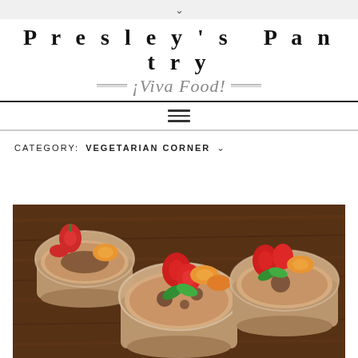∨
Presley's Pantry
¡Viva Food!
CATEGORY: VEGETARIAN CORNER
[Figure (photo): Close-up photo of multiple glass dessert cups/bowls filled with a creamy pudding or mousse, topped with sliced fresh strawberries, mandarin orange segments, and mint leaves, on a wooden background.]